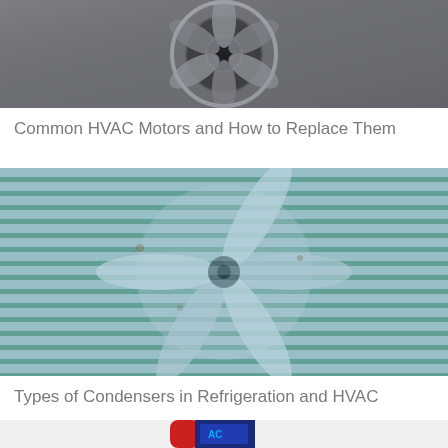[Figure (photo): Close-up of an HVAC fan motor with metallic blades and housing]
Common HVAC Motors and How to Replace Them
[Figure (photo): Outdoor air condenser unit with metal grill and fan blades visible through the grid, teal/blue tinted grill]
Types of Condensers in Refrigeration and HVAC
[Figure (photo): A blue AC refrigerant canister/tube product on white background]